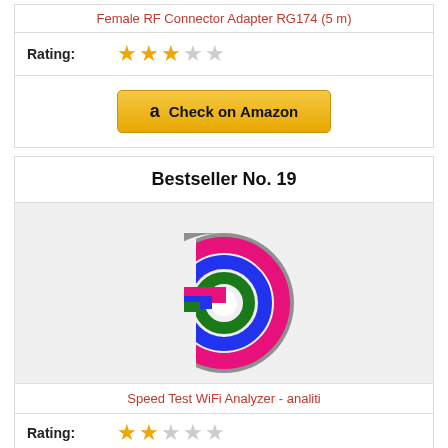Female RF Connector Adapter RG174 (5 m)
Rating:
[Figure (other): 3 filled gold stars and 2 empty stars rating]
[Figure (other): Check on Amazon button with Amazon logo]
Bestseller No. 19
[Figure (logo): Speed Test WiFi Analyzer analiti app logo - colorful concentric D-shape with pink, blue, green stripes on gray background]
Speed Test WiFi Analyzer - analiti
Rating:
[Figure (other): 2 filled gold stars and partial/empty stars rating]